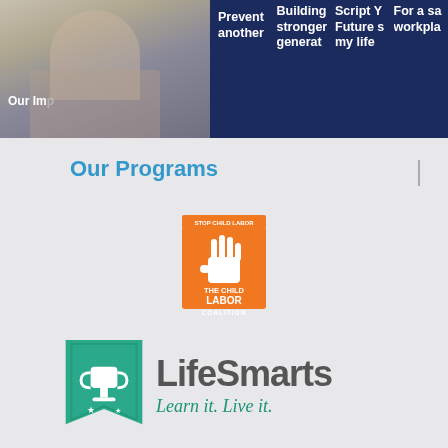[Figure (screenshot): Top navigation banner with dark navy background showing partial text labels: 'Our Imp', 'Prevent another', 'Building stronger generat', 'Script Y Future s my life', 'For a so workpla', with a photo of a woman in beige jacket on the left]
Our Programs
[Figure (logo): The Child Labor Coalition logo: orange square with white hand/stop symbol, text 'STOP CHILD LABOR' at top, 'THE CHILD LABOR COALITION' below]
[Figure (logo): LifeSmarts logo: teal banner/bookmark shape with white trophy icon, text 'LifeSmarts' in gray, 'Learn it. Live it.' in teal italic below]